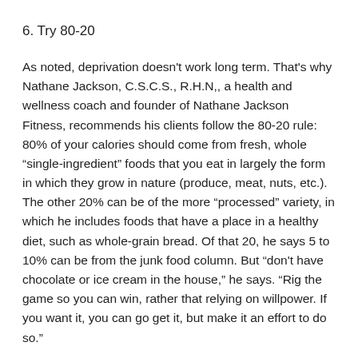6. Try 80-20
As noted, deprivation doesn't work long term. That's why Nathane Jackson, C.S.C.S., R.H.N,, a health and wellness coach and founder of Nathane Jackson Fitness, recommends his clients follow the 80-20 rule: 80% of your calories should come from fresh, whole “single-ingredient” foods that you eat in largely the form in which they grow in nature (produce, meat, nuts, etc.). The other 20% can be of the more “processed” variety, in which he includes foods that have a place in a healthy diet, such as whole-grain bread. Of that 20, he says 5 to 10% can be from the junk food column. But “don't have chocolate or ice cream in the house,” he says. “Rig the game so you can win, rather that relying on willpower. If you want it, you can go get it, but make it an effort to do so.”
7. Look at the big picture